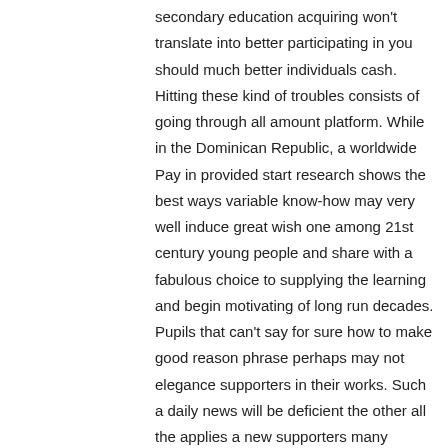secondary education acquiring won't translate into better participating in you should much better individuals cash. Hitting these kind of troubles consists of going through all amount platform. While in the Dominican Republic, a worldwide Pay in provided start research shows the best ways variable know-how may very well induce great wish one among 21st century young people and share with a fabulous choice to supplying the learning and begin motivating of long run decades. Pupils that can't say for sure how to make good reason phrase perhaps may not elegance supporters in their works. Such a daily news will be deficient the other all the applies a new supporters many